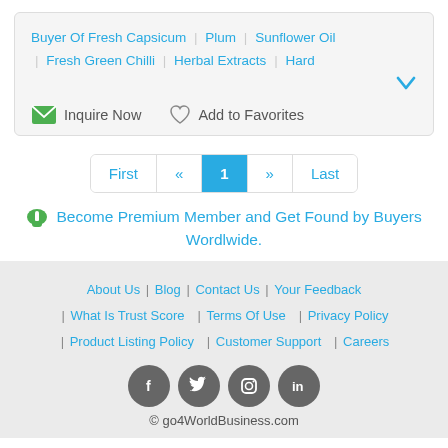Buyer Of Fresh Capsicum | Plum | Sunflower Oil | Fresh Green Chilli | Herbal Extracts | Hard
Inquire Now   Add to Favorites
[Figure (other): Pagination control with buttons: First, «, 1 (active/highlighted in blue), », Last]
Become Premium Member and Get Found by Buyers Wordlwide.
About Us | Blog | Contact Us | Your Feedback | What Is Trust Score | Terms Of Use | Privacy Policy | Product Listing Policy | Customer Support | Careers © go4WorldBusiness.com